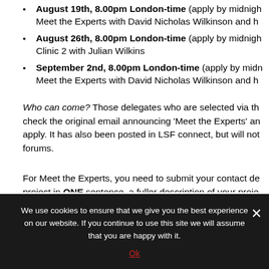August 19th, 8.00pm London-time (apply by midnight) Meet the Experts with David Nicholas Wilkinson and h
August 26th, 8.00pm London-time (apply by midnight) Clinic 2 with Julian Wilkins
September 2nd, 8.00pm London-time (apply by midnight) Meet the Experts with David Nicholas Wilkinson and h
Who can come? Those delegates who are selected via the check the original email announcing 'Meet the Experts' an apply. It has also been posted in LSF connect, but will not forums.
For Meet the Experts, you need to submit your contact de project in ONE sentence, a fuller description of your proje line or two about your experience in film, TV and/or theatr
We use cookies to ensure that we give you the best experience on our website. If you continue to use this site we will assume that you are happy with it.
Ok